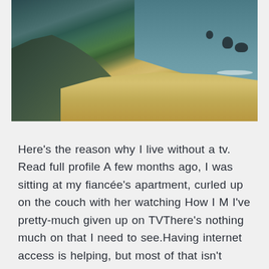[Figure (photo): Aerial or elevated view of a coastal beach scene with rocky cliffs on the left, sandy beach in the middle, and ocean waves on the right with rock formations visible in the water.]
Here's the reason why I live without a tv. Read full profile A few months ago, I was sitting at my fiancée's apartment, curled up on the couch with her watching How I M I've pretty-much given up on TVThere's nothing much on that I need to see.Having internet access is helping, but most of that isn't passive, so it's not really a substitute.Can you live without TV?I usually look at The Simpsons, but if I've If you missed your favorite TV show or didn't have the time to visit the video store, don't worry. With streaming TV there is no